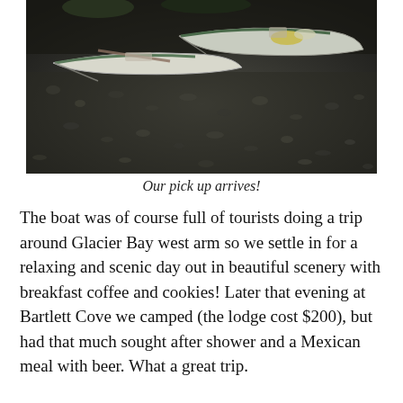[Figure (photo): Two canoes/kayaks resting on a dark pebbly rocky beach or shore. One canoe is white with green trim, the other appears darker. There are some items/gear on the boats. The ground is covered in dark wet pebbles and rocks.]
Our pick up arrives!
The boat was of course full of tourists doing a trip around Glacier Bay west arm so we settle in for a relaxing and scenic day out in beautiful scenery with breakfast coffee and cookies! Later that evening at Bartlett Cove we camped (the lodge cost $200), but had that much sought after shower and a Mexican meal with beer. What a great trip.